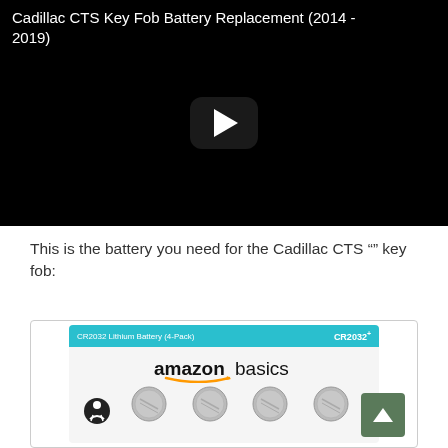[Figure (screenshot): Embedded YouTube-style video player showing black background with white play button, titled 'Cadillac CTS Key Fob Battery Replacement (2014 - 2019)']
This is the battery you need for the Cadillac CTS "" key fob:
[Figure (photo): AmazonBasics CR2032 lithium coin cell battery 4-pack product image showing teal-topped packaging with four round silver batteries displayed below the brand name]